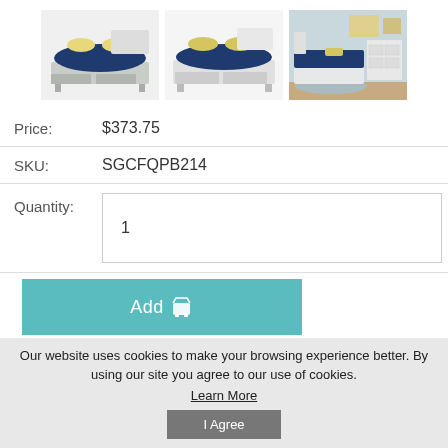[Figure (photo): Three product thumbnail images of a bed with dark navy bedding and storage drawers, plus a room scene showing the bed in a bedroom setting]
| Price: | $373.75 |
| SKU: | SGCFQPB214 |
| Quantity: | 1 |
Add
Our website uses cookies to make your browsing experience better. By using our site you agree to our use of cookies.
Learn More
I Agree